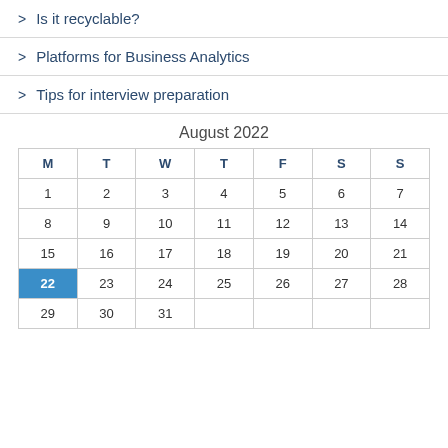> Is it recyclable?
> Platforms for Business Analytics
> Tips for interview preparation
August 2022
| M | T | W | T | F | S | S |
| --- | --- | --- | --- | --- | --- | --- |
| 1 | 2 | 3 | 4 | 5 | 6 | 7 |
| 8 | 9 | 10 | 11 | 12 | 13 | 14 |
| 15 | 16 | 17 | 18 | 19 | 20 | 21 |
| 22 | 23 | 24 | 25 | 26 | 27 | 28 |
| 29 | 30 | 31 |  |  |  |  |